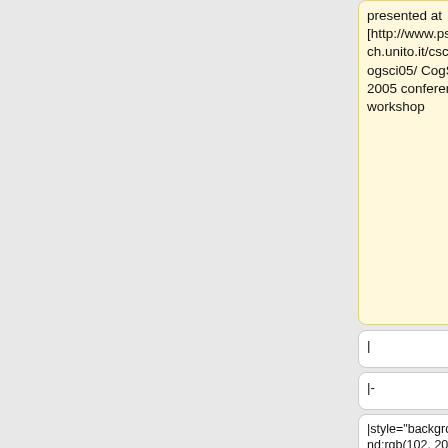presented at [http://www.psych.unito.it/csc/cogsci05/ CogSci 2005 conference] workshop
|
|
|-
|-
|style="background:rgb(102, 204, 255)"|19
|style="background:rgb(102, 204, 255)"|19
|Apr. 26
|Apr. 26
|Superintelligence
|Student presentations
|
|
* [http://www.nyti